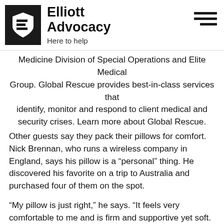Elliott Advocacy — Here to help
Medicine Division of Special Operations and Elite Medical Group. Global Rescue provides best-in-class services that identify, monitor and respond to client medical and security crises. Learn more about Global Rescue.
Other guests say they pack their pillows for comfort. Nick Brennan, who runs a wireless company in England, says his pillow is a “personal” thing. He discovered his favorite on a trip to Australia and purchased four of them on the spot.
“My pillow is just right,” he says. “It feels very comfortable to me and is firm and supportive yet soft. I find some hotel pillows are just too soft and your head sinks into them. Some people like this. I don’t. Other times the pillows can be rock hard. Again, each to their own.”